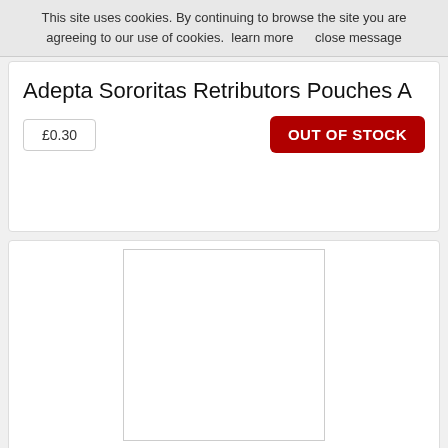This site uses cookies. By continuing to browse the site you are agreeing to our use of cookies.  learn more     close message
Adepta Sororitas Retributors Pouches A
£0.30
OUT OF STOCK
[Figure (photo): Product image placeholder for Adepta Sororitas Retributors Pouches B]
Adepta Sororitas Retributors Pouches B
£0.30
OUT OF STOCK